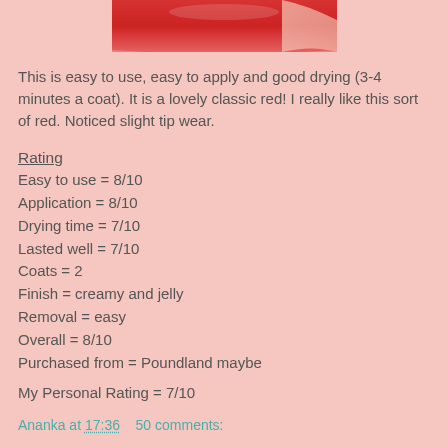[Figure (photo): Close-up photo of red nail polish on a fingernail, cropped at top]
This is easy to use, easy to apply and good drying (3-4 minutes a coat). It is a lovely classic red! I really like this sort of red. Noticed slight tip wear.
Rating
Easy to use = 8/10
Application = 8/10
Drying time = 7/10
Lasted well = 7/10
Coats = 2
Finish = creamy and jelly
Removal = easy
Overall = 8/10
Purchased from = Poundland maybe
My Personal Rating = 7/10
Ananka at 17:36    50 comments: